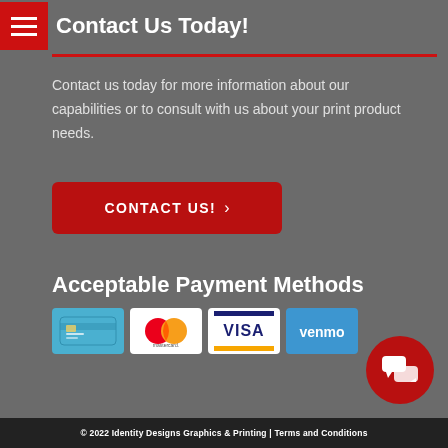Contact Us Today!
Contact us today for more information about our capabilities or to consult with us about your print product needs.
CONTACT US! ›
Acceptable Payment Methods
[Figure (illustration): Payment method logos: a debit/credit card icon, Mastercard, Visa, and Venmo logos]
[Figure (illustration): Red circular chat/message button icon]
© 2022 Identity Designs Graphics & Printing | Terms and Conditions